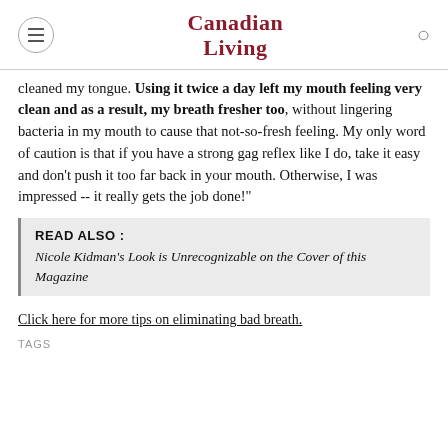Canadian Living
cleaned my tongue. Using it twice a day left my mouth feeling very clean and as a result, my breath fresher too, without lingering bacteria in my mouth to cause that not-so-fresh feeling. My only word of caution is that if you have a strong gag reflex like I do, take it easy and don't push it too far back in your mouth. Otherwise, I was impressed -- it really gets the job done!"
READ ALSO : Nicole Kidman's Look is Unrecognizable on the Cover of this Magazine
Click here for more tips on eliminating bad breath.
TAGS